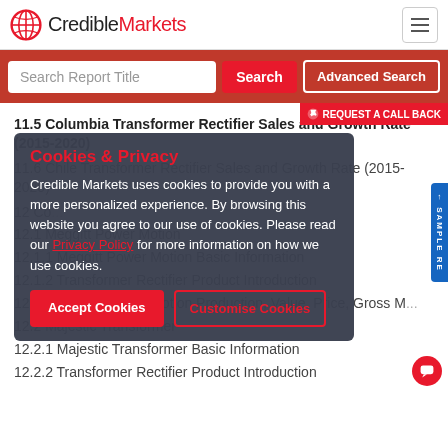CredibleMarkets
Search Report Title
11.5 Columbia Transformer Rectifier Sales and Growth Rate (2015-2020)
11.6 Chile Transformer Rectifier Sales and Growth Rate (2015-2020)
12 Co...
12.1 Meggitt Power Motion
12.1.1 Meggitt Power Motion Basic Information
12.1.2 Transformer Rectifier Product Introduction
12.1.3 Meggitt Power Motion Production, Value, Price, Gross M...
12.2 Majestic Transformer
12.2.1 Majestic Transformer Basic Information
12.2.2 Transformer Rectifier Product Introduction
Cookies & Privacy - Credible Markets uses cookies to provide you with a more personalized experience. By browsing this website you agree to our use of cookies. Please read our Privacy Policy for more information on how we use cookies.